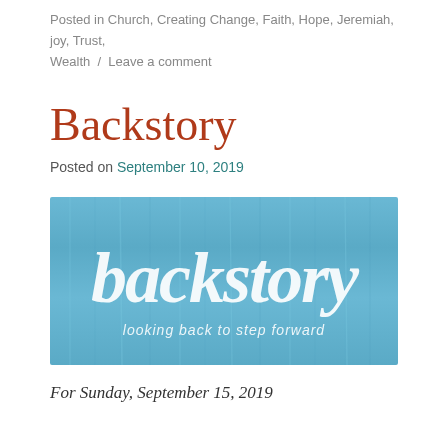Posted in Church, Creating Change, Faith, Hope, Jeremiah, joy, Trust, Wealth  /  Leave a comment
Backstory
Posted on September 10, 2019
[Figure (illustration): Blue wood-grain textured banner image with white brush-script text reading 'backstory' and subtitle 'looking back to step forward']
For Sunday, September 15, 2019